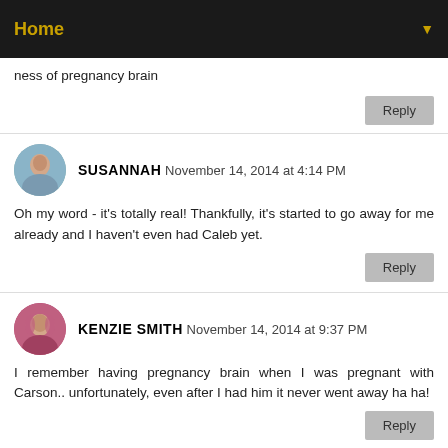Home
ness of pregnancy brain
SUSANNAH November 14, 2014 at 4:14 PM
Oh my word - it's totally real! Thankfully, it's started to go away for me already and I haven't even had Caleb yet.
KENZIE SMITH November 14, 2014 at 9:37 PM
I remember having pregnancy brain when I was pregnant with Carson.. unfortunately, even after I had him it never went away ha ha!